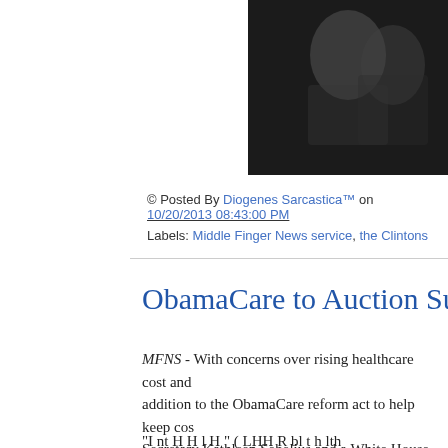[Figure (photo): Black and white photo with white bold text overlay reading 'Oh, excuse me. My [cut off] when I'm aro[cut off]']
© Posted By Diogenes Sarcastica™ on 10/20/2013 08:43:00 PM
Labels: Middle Finger News service, the Clintons
ObamaCare to Auction Surge[cut off]
MFNS - With concerns over rising healthcare cost and [cut off] addition to the ObamaCare reform act to help keep cos[cut off] Secretary Kathleen Sebelius and a White House comm[cut off]
"I nt H H l H " ( LHH R bl t h lth [cut off]